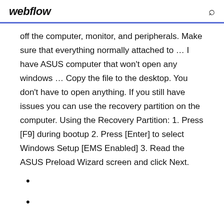webflow
off the computer, monitor, and peripherals. Make sure that everything normally attached to ... I have ASUS computer that won't open any windows ... Copy the file to the desktop. You don't have to open anything. If you still have issues you can use the recovery partition on the computer. Using the Recovery Partition: 1. Press [F9] during bootup 2. Press [Enter] to select Windows Setup [EMS Enabled] 3. Read the ASUS Preload Wizard screen and click Next.